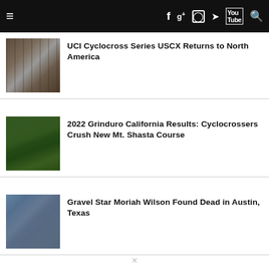Navigation bar with hamburger menu, social icons (Facebook, Google+, Instagram, Twitter, YouTube), and search
UCI Cyclocross Series USCX Returns to North America
2022 Grinduro California Results: Cyclocrossers Crush New Mt. Shasta Course
Gravel Star Moriah Wilson Found Dead in Austin, Texas
×